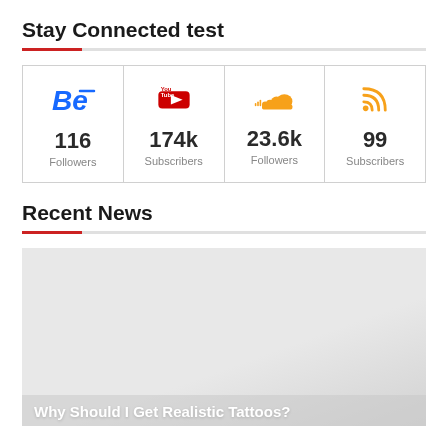Stay Connected test
| Behance | YouTube | SoundCloud | RSS |
| --- | --- | --- | --- |
| 116
Followers | 174k
Subscribers | 23.6k
Followers | 99
Subscribers |
Recent News
[Figure (photo): Light gray placeholder image for news article]
Why Should I Get Realistic Tattoos?